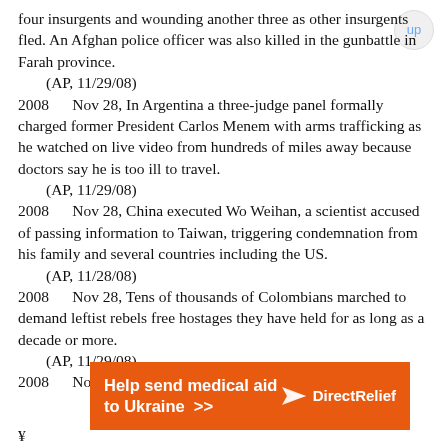four insurgents and wounding another three as other insurgents fled. An Afghan police officer was also killed in the gunbattle in Farah province.
(AP, 11/29/08)
2008      Nov 28, In Argentina a three-judge panel formally charged former President Carlos Menem with arms trafficking as he watched on live video from hundreds of miles away because doctors say he is too ill to travel.
(AP, 11/29/08)
2008      Nov 28, China executed Wo Weihan, a scientist accused of passing information to Taiwan, triggering condemnation from his family and several countries including the US.
(AP, 11/28/08)
2008      Nov 28, Tens of thousands of Colombians marched to demand leftist rebels free hostages they have held for as long as a decade or more.
(AP, 11/29/08)
2008      Nov 28, Congo rebels captured the
[Figure (other): Orange advertisement banner for Direct Relief: 'Help send medical aid to Ukraine >>' with Direct Relief logo on right side]